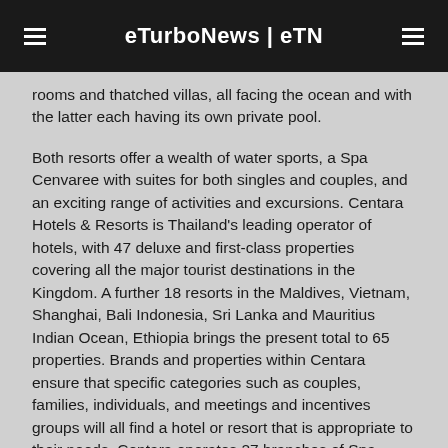eTurboNews | eTN
rooms and thatched villas, all facing the ocean and with the latter each having its own private pool.
Both resorts offer a wealth of water sports, a Spa Cenvaree with suites for both singles and couples, and an exciting range of activities and excursions. Centara Hotels & Resorts is Thailand's leading operator of hotels, with 47 deluxe and first-class properties covering all the major tourist destinations in the Kingdom. A further 18 resorts in the Maldives, Vietnam, Shanghai, Bali Indonesia, Sri Lanka and Mauritius Indian Ocean, Ethiopia brings the present total to 65 properties. Brands and properties within Centara ensure that specific categories such as couples, families, individuals, and meetings and incentives groups will all find a hotel or resort that is appropriate to their needs. Centara operates 27 branches of Spa Cenvaree, one of Thailand's most luxurious and innovative spa brands, together with its newly launched value brand Cense by Spa Cenvaree, which provides care and services for busy